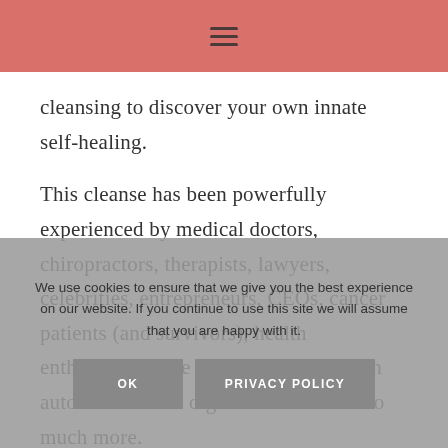≡
cleansing to discover your own innate self-healing.
This cleanse has been powerfully experienced by medical doctors, chiropractors, therapists, lawyers, celebrities, entrepreneurs, CEOs, cancer patients (and survivors), health enthusiasts, those in food recovery with autoimmune and digestive issues and so much more.
I will be cleansing along with you and guiding you each day for 18 days.
We use cookies to ensure that we give you the best experience on our website. If you continue to use this site we will assume that you are happy with it.
OK
PRIVACY POLICY